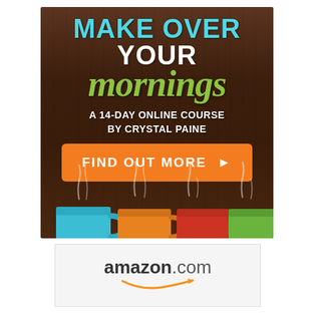[Figure (illustration): Advertisement image for 'Make Over Your Mornings' — a 14-day online course by Crystal Paine. Dark wood background with colorful steaming coffee mugs (blue, orange, red, green) at the bottom. Large cyan/white text 'MAKE OVER YOUR' at top, large green italic 'mornings' below, white text 'A 14-DAY ONLINE COURSE BY CRYSTAL PAINE', orange call-to-action button 'FIND OUT MORE ▶'.]
[Figure (logo): Amazon.com logo with orange smile/arrow swoosh underneath.]